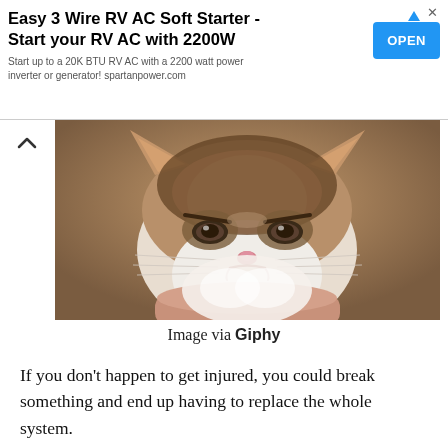[Figure (other): Advertisement banner: 'Easy 3 Wire RV AC Soft Starter - Start your RV AC with 2200W' with blue OPEN button]
[Figure (photo): Photo of a grumpy-looking cat (Grumpy Cat) being held up by a human hand, looking directly at the camera with a frown]
Image via Giphy
If you don't happen to get injured, you could break something and end up having to replace the whole system.